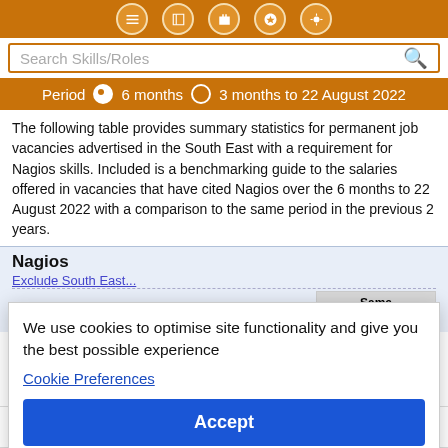Search Skills/Roles
Period 6 months 3 months to 22 August 2022
The following table provides summary statistics for permanent job vacancies advertised in the South East with a requirement for Nagios skills. Included is a benchmarking guide to the salaries offered in vacancies that have cited Nagios over the 6 months to 22 August 2022 with a comparison to the same period in the previous 2 years.
Nagios
| Same period 2020 |
| --- |
| 304 |
| ▲ +120 |
| 16 |
| 0.15% | 0.042% | 0.16% |
We use cookies to optimise site functionality and give you the best possible experience
Cookie Preferences
Accept